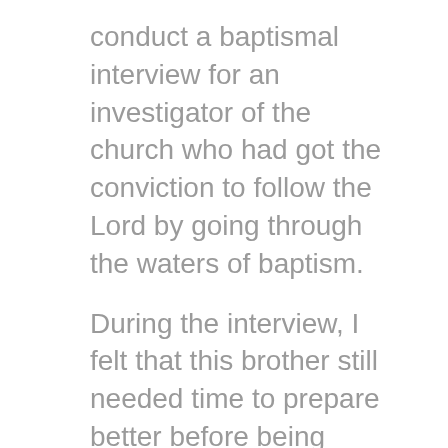conduct a baptismal interview for an investigator of the church who had got the conviction to follow the Lord by going through the waters of baptism.
During the interview, I felt that this brother still needed time to prepare better before being baptized because he should better observe certain principles. Therefore, I did not sign his baptismal record.
Before finishing the interview, I asked the brother only one question: 'if he felt the desire to follow the savior by being baptized with water and receive the holy spirit'. He automatically said 'yes.
So, I paused and made an inner prayer to